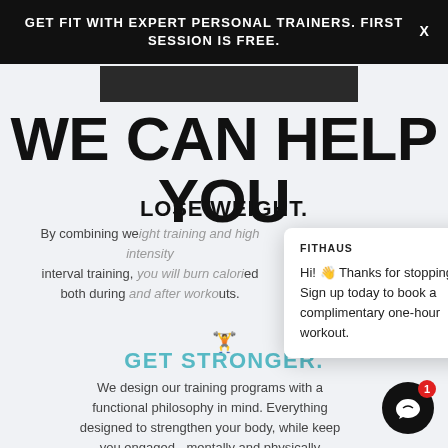GET FIT WITH EXPERT PERSONAL TRAINERS. FIRST SESSION IS FREE.
[Figure (photo): Dark cropped photo strip of a person, partially visible]
WE CAN HELP YOU
LOSE WEIGHT.
By combining weight training and high intensity interval training, you will burn calories both during and after workouts.
GET STRONGER.
We design our training programs with a functional philosophy in mind. Everything designed to strengthen your body, while keeping you engaged - mentally and physically.
[Figure (screenshot): FITHAUS chat popup with message: Hi! Thanks for stopping by! Sign up today to book a complimentary one-hour workout.]